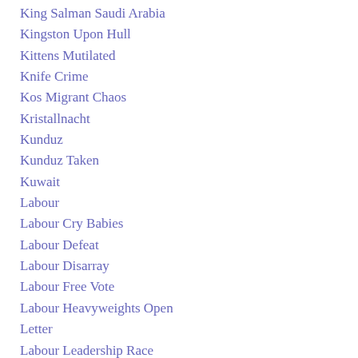King Salman Saudi Arabia
Kingston Upon Hull
Kittens Mutilated
Knife Crime
Kos Migrant Chaos
Kristallnacht
Kunduz
Kunduz Taken
Kuwait
Labour
Labour Cry Babies
Labour Defeat
Labour Disarray
Labour Free Vote
Labour Heavyweights Open
Letter
Labour Leadership Race
Labour Majority